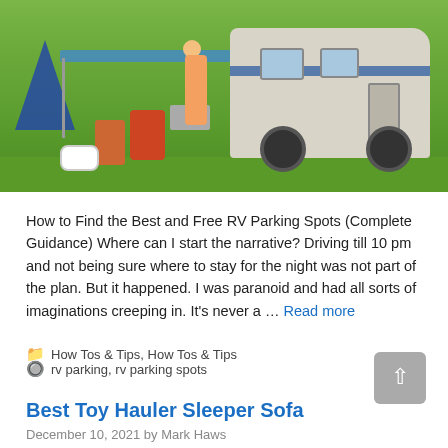[Figure (photo): Photo of an RV/motorhome parked outdoors on grass with a woman sitting at a table under an awning, colorful chairs, a dog, and a blue tent nearby.]
How to Find the Best and Free RV Parking Spots (Complete Guidance) Where can I start the narrative? Driving till 10 pm and not being sure where to stay for the night was not part of the plan. But it happened. I was paranoid and had all sorts of imaginations creeping in. It’s never a … Read more
Categories: How Tos & Tips, How Tos & Tips
Tags: rv parking, rv parking spots
Best Toy Hauler Sleeper Sofa
December 10, 2021 by Mark Haws